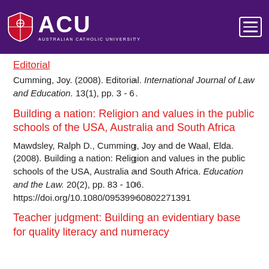ACU - Australian Catholic University
Editorial
Cumming, Joy. (2008). Editorial. International Journal of Law and Education. 13(1), pp. 3 - 6.
Building a nation: Religion and values in the public schools of the USA, Australia and South Africa
Mawdsley, Ralph D., Cumming, Joy and de Waal, Elda. (2008). Building a nation: Religion and values in the public schools of the USA, Australia and South Africa. Education and the Law. 20(2), pp. 83 - 106. https://doi.org/10.1080/09539960802271391
Teacher judgment: Building an evidentiary base for quality literacy and numeracy